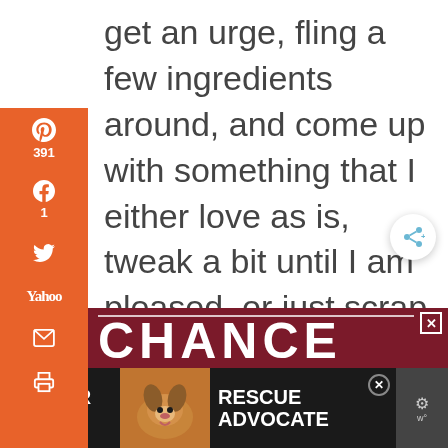get an urge, fling a few ingredients around, and come up with something that I either love as is, tweak a bit until I am pleased, or just scrap because well, let's face it, some attempts at brilliancy are failures.
[Figure (screenshot): Social media sharing sidebar with orange background showing Pinterest (391), Facebook (1), Twitter, Yahoo, Email, and Print buttons]
392 SHARES
[Figure (screenshot): Advertisement banner with dark red background showing CHANCE text in large white letters]
[Figure (screenshot): Bottom advertisement bar with dark background showing FOSTER ADOPT dog RESCUE ADVOCATE animal shelter ad with beagle dog image]